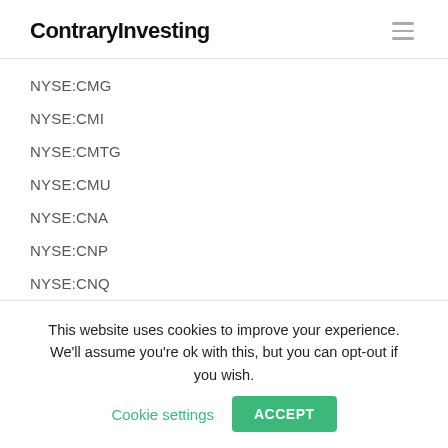ContraryInvesting
NYSE:CMG
NYSE:CMI
NYSE:CMTG
NYSE:CMU
NYSE:CNA
NYSE:CNP
NYSE:CNQ
NYSE:CODI
This website uses cookies to improve your experience. We'll assume you're ok with this, but you can opt-out if you wish. Cookie settings ACCEPT